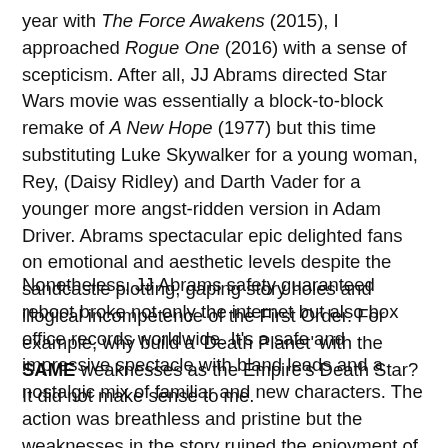year with The Force Awakens (2015), I approached Rogue One (2016) with a sense of scepticism. After all, JJ Abrams directed Star Wars movie was essentially a block-to-block remake of A New Hope (1977) but this time substituting Luke Skywalker for a young woman, Rey, (Daisy Ridley) and Darth Vader for a younger more angst-ridden version in Adam Driver. Abrams spectacular epic delighted fans on emotional and aesthetic levels despite the sandcastle plotting, gaping story holes and illogical incompetence of the First Order. For example, why build a 'Death Planet' with the SAME weaknesses as the Empire's Death Star?  It did not make sense to me.
Nonetheless, JJ Abrams safety guaranteed reboot broke not only the internet but also box office records worldwide. It's a safe and impressive spectacle with bland leads and a nostalgic mix of familiar and new characters. The action was breathless and pristine but the weaknesses in the story ruined the enjoyment of The Force Awakens for me. While it made sense to focus the narrative on the children of the original trilogy, and it